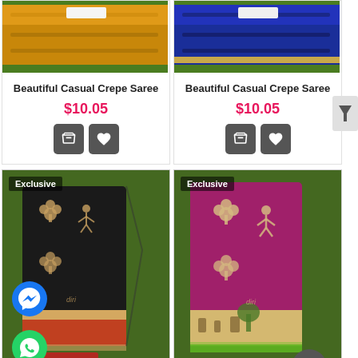[Figure (photo): Yellow/mustard colored saree folded on green grass background]
Beautiful Casual Crepe Saree
$10.05
[Figure (photo): Blue/royal blue colored saree folded on green grass background]
Beautiful Casual Crepe Saree
$10.05
[Figure (photo): Black saree with warli tribal art prints and red border, labeled Exclusive]
[Figure (photo): Magenta/pink saree with warli tribal art prints and green border, labeled Exclusive]